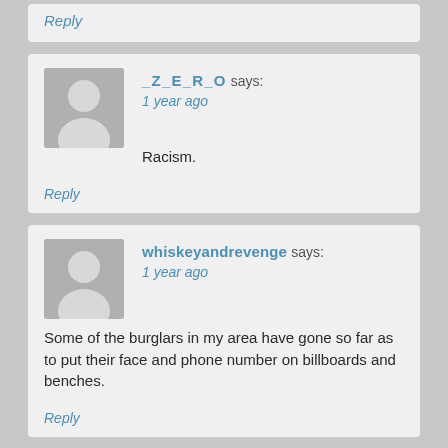Reply
_Z_E_R_O says:
1 year ago

Racism.
Reply
whiskeyandrevenge says:
1 year ago

Some of the burglars in my area have gone so far as to put their face and phone number on billboards and benches.
Reply
misdirected_asshole says: